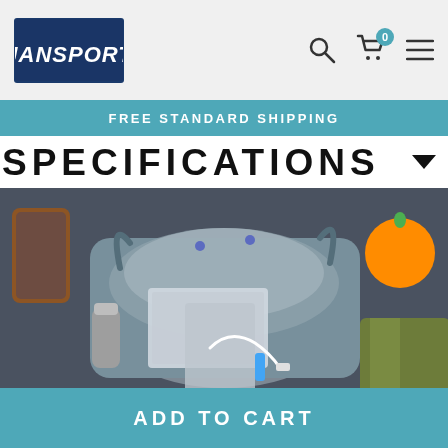JanSport — navigation header with logo, search, cart (0), menu
FREE STANDARD SHIPPING
SPECIFICATIONS
[Figure (photo): Open JanSport backpack laid flat on dark surface, showing laptop, tablet, phone, charging cable, and other tech accessories inside. Orange fruit visible top right, phone case top left, olive jacket bottom right.]
ADD TO CART